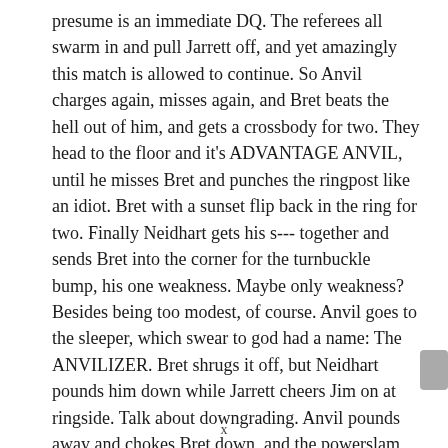presume is an immediate DQ. The referees all swarm in and pull Jarrett off, and yet amazingly this match is allowed to continue. So Anvil charges again, misses again, and Bret beats the hell out of him, and gets a crossbody for two. They head to the floor and it's ADVANTAGE ANVIL, until he misses Bret and punches the ringpost like an idiot. Bret with a sunset flip back in the ring for two. Finally Neidhart gets his s--- together and sends Bret into the corner for the turnbuckle bump, his one weakness. Maybe only weakness? Besides being too modest, of course. Anvil goes to the sleeper, which swear to god had a name: The ANVILIZER. Bret shrugs it off, but Neidhart pounds him down while Jarrett cheers Jim on at ringside. Talk about downgrading. Anvil pounds away and chokes Bret down, and the powerslam gets two. Back to the floor
x